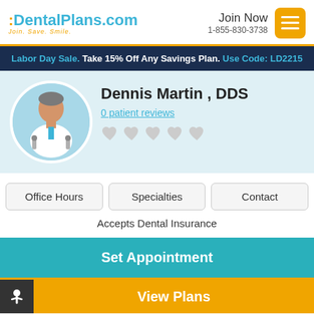:DentalPlans.com Join. Save. Smile. Join Now 1-855-830-3738
Labor Day Sale. Take 15% Off Any Savings Plan. Use Code: LD2215
[Figure (illustration): Doctor avatar illustration in circular frame with white coat and stethoscope]
Dennis Martin , DDS
0 patient reviews
Office Hours  Specialties  Contact
Accepts Dental Insurance
Set Appointment
View Plans